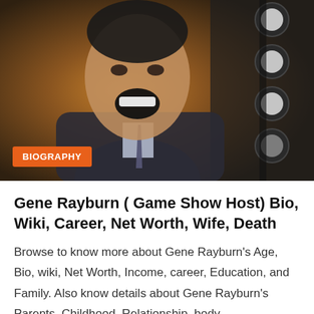[Figure (photo): Black and white / color photo of Gene Rayburn, a man in a dark suit and tie, laughing with his mouth wide open. In the background are stage lights. An orange 'BIOGRAPHY' badge overlays the lower left of the image.]
Gene Rayburn ( Game Show Host)  Bio, Wiki, Career, Net Worth, Wife, Death
Browse to know more about Gene Rayburn's Age, Bio, wiki, Net Worth, Income, career, Education, and Family. Also know details about Gene Rayburn's Parents, Childhood, Relationship, body measurements, Images, and many more. American